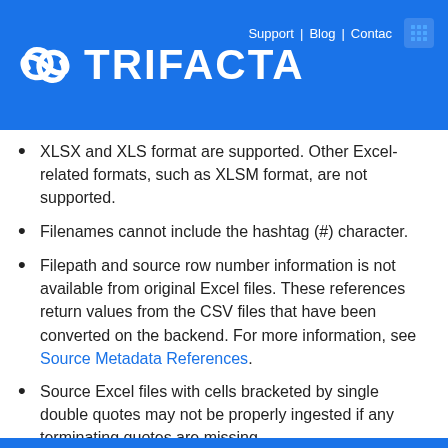Support | Blog | Contact  [grid icon]
[Figure (logo): Trifacta logo with swirl icon on blue background, brand name TRIFACTA in white]
XLSX and XLS format are supported. Other Excel-related formats, such as XLSM format, are not supported.
Filenames cannot include the hashtag (#) character.
Filepath and source row number information is not available from original Excel files. These references return values from the CSV files that have been converted on the backend. For more information, see Source Metadata References.
Source Excel files with cells bracketed by single double quotes may not be properly ingested if any terminating quotes are missing.